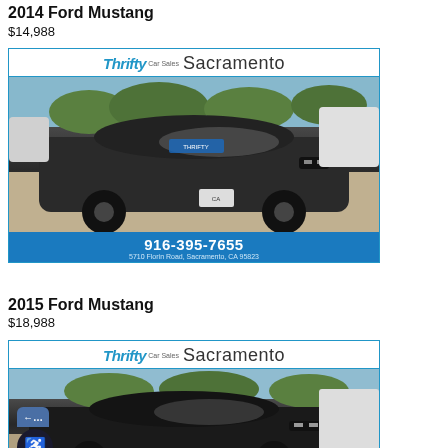2014 Ford Mustang
$14,988
[Figure (photo): Thrifty Car Sales Sacramento dealer listing photo of a dark gray 2014 Ford Mustang in a dealership lot. Dealer banner shows phone 916-395-7655 and address 5710 Florin Road, Sacramento, CA 95823.]
2015 Ford Mustang
$18,988
[Figure (photo): Thrifty Car Sales Sacramento dealer listing photo of a black 2015 Ford Mustang in a dealership lot. Partially visible, with accessibility widget overlay in bottom left.]